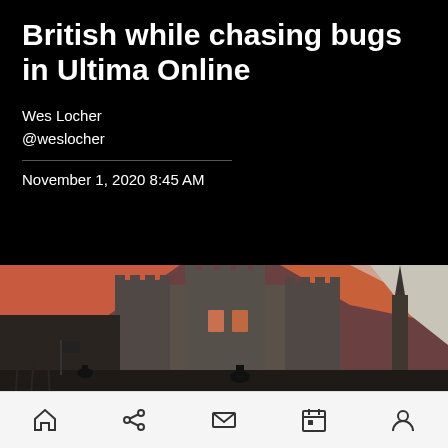British while chasing bugs in Ultima Online
Wes Locher
@weslocher
November 1, 2020 8:45 AM
[Figure (illustration): Dark medieval castle illustration with orange-red sky, silhouetted figures and flags in foreground — artwork from Ultima Online game]
Navigation bar with home, share, mail, calendar, and profile icons